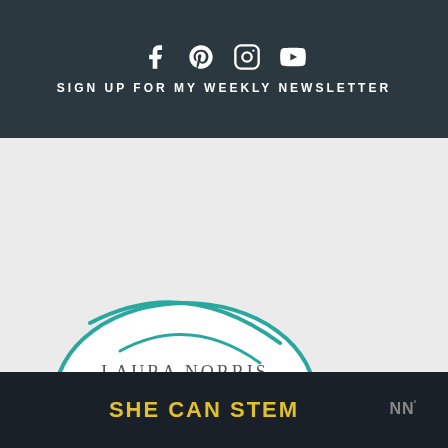SIGN UP FOR MY WEEKLY NEWSLETTER
[Figure (logo): Laura Norris Running logo — teal oval/circle outline with text: LAURA NORRIS, Running (script), LET'S Science THE Sh*t OUT OF THIS RUN]
SHE CAN STEM